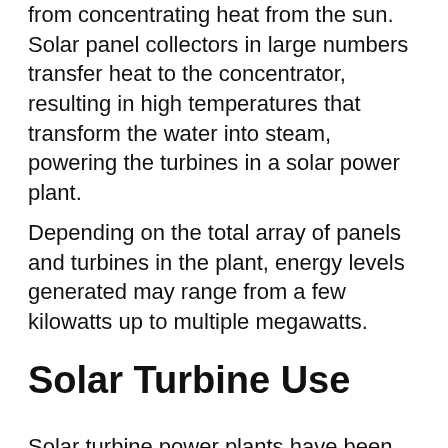from concentrating heat from the sun. Solar panel collectors in large numbers transfer heat to the concentrator, resulting in high temperatures that transform the water into steam, powering the turbines in a solar power plant.
Depending on the total array of panels and turbines in the plant, energy levels generated may range from a few kilowatts up to multiple megawatts.
Solar Turbine Use
Solar turbine power plants have been placed in service in both the US and international locations. This technology now produces significant power resources in such locations